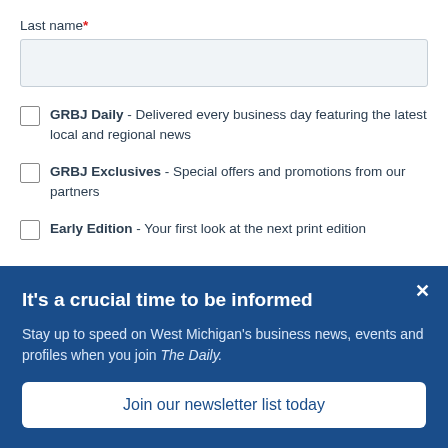Last name*
GRBJ Daily - Delivered every business day featuring the latest local and regional news
GRBJ Exclusives - Special offers and promotions from our partners
Early Edition - Your first look at the next print edition
It's a crucial time to be informed
Stay up to speed on West Michigan's business news, events and profiles when you join The Daily.
Join our newsletter list today